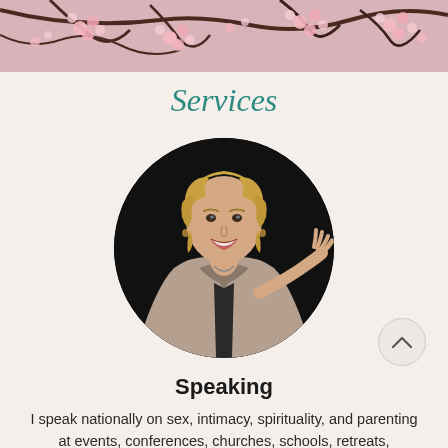[Figure (photo): Cherry blossom branches with pink flowers against a light background, used as a decorative header banner.]
Services
[Figure (photo): A woman with blonde curly hair, wearing a beige jacket, smiling and gesturing with her hand outstretched, photographed against a dark background. The portrait is cropped in an oval shape.]
Speaking
I speak nationally on sex, intimacy, spirituality, and parenting at events, conferences, churches, schools, retreats,